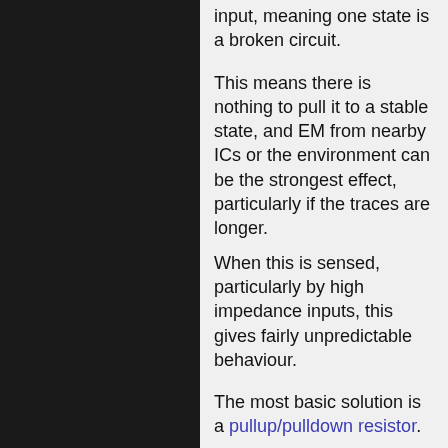input, meaning one state is a broken circuit.
This means there is nothing to pull it to a stable state, and EM from nearby ICs or the environment can be the strongest effect, particularly if the traces are longer.
When this is sensed, particularly by high impedance inputs, this gives fairly unpredictable behaviour.
The most basic solution is a pullup/pulldown resistor.
Things like schmitt triggers may also help.